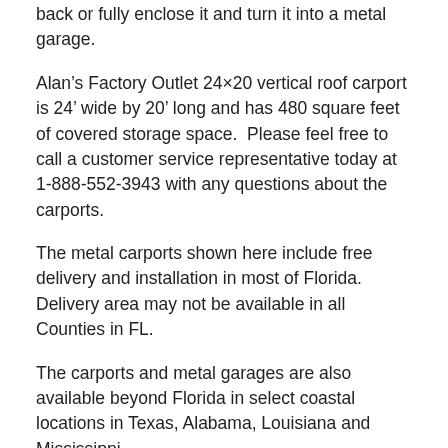back or fully enclose it and turn it into a metal garage.
Alan’s Factory Outlet 24×20 vertical roof carport is 24’ wide by 20’ long and has 480 square feet of covered storage space.  Please feel free to call a customer service representative today at 1-888-552-3943 with any questions about the carports.
The metal carports shown here include free delivery and installation in most of Florida. Delivery area may not be available in all Counties in FL.
The carports and metal garages are also available beyond Florida in select coastal locations in Texas, Alabama, Louisiana and Mississippi.
*The metal carport prices are subject to change without notice
Upon ordering the carport at Alan’s Factory Outlet a 10% – 17% deposit is due, based on the pre-tax purchase price of your metal structure. You can pay